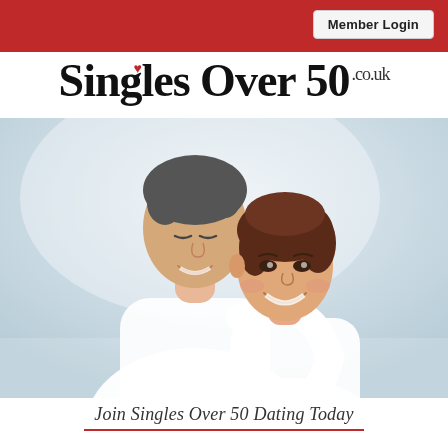Member Login
Singles Over 50.co.uk
[Figure (photo): A smiling middle-aged couple, man behind woman, both in white, light background]
Join Singles Over 50 Dating Today